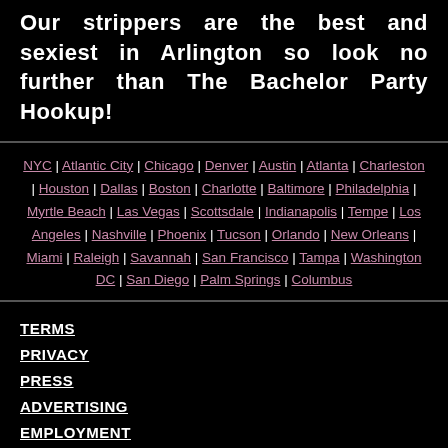Our strippers are the best and sexiest in Arlington so look no further than The Bachelor Party Hookup!
NYC | Atlantic City | Chicago | Denver | Austin | Atlanta | Charleston | Houston | Dallas | Boston | Charlotte | Baltimore | Philadelphia | Myrtle Beach | Las Vegas | Scottsdale | Indianapolis | Tempe | Los Angeles | Nashville | Phoenix | Tucson | Orlando | New Orleans | Miami | Raleigh | Savannah | San Francisco | Tampa | Washington DC | San Diego | Palm Springs | Columbus
TERMS
PRIVACY
PRESS
ADVERTISING
EMPLOYMENT
FEEDBACK
SITEMAP